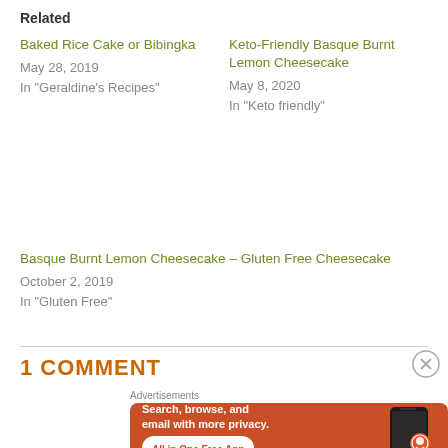Related
Baked Rice Cake or Bibingka
May 28, 2019
In "Geraldine's Recipes"
Keto-Friendly Basque Burnt Lemon Cheesecake
May 8, 2020
In "Keto friendly"
Basque Burnt Lemon Cheesecake – Gluten Free Cheesecake
October 2, 2019
In "Gluten Free"
1 COMMENT
Advertisements
[Figure (infographic): DuckDuckGo advertisement: orange background with phone showing DuckDuckGo logo. Text: 'Search, browse, and email with more privacy. All in One Free App']